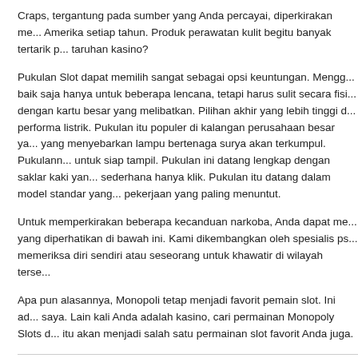Craps, tergantung pada sumber yang Anda percayai, diperkirakan me... Amerika setiap tahun. Produk perawatan kulit begitu banyak tertarik p... taruhan kasino?
Pukulan Slot dapat memilih sangat sebagai opsi keuntungan. Mengg... baik saja hanya untuk beberapa lencana, tetapi harus sulit secara fisi... dengan kartu besar yang melibatkan. Pilihan akhir yang lebih tinggi d... performa listrik. Pukulan itu populer di kalangan perusahaan besar ya... yang menyebarkan lampu bertenaga surya akan terkumpul. Pukulann... untuk siap tampil. Pukulan ini datang lengkap dengan saklar kaki yan... sederhana hanya klik. Pukulan itu datang dalam model standar yang... pekerjaan yang paling menuntut.
Untuk memperkirakan beberapa kecanduan narkoba, Anda dapat me... yang diperhatikan di bawah ini. Kami dikembangkan oleh spesialis ps... memeriksa diri sendiri atau seseorang untuk khawatir di wilayah terse...
Apa pun alasannya, Monopoli tetap menjadi favorit pemain slot. Ini ad... saya. Lain kali Anda adalah kasino, cari permainan Monopoly Slots d... itu akan menjadi salah satu permainan slot favorit Anda juga.
Filed Under: Casino